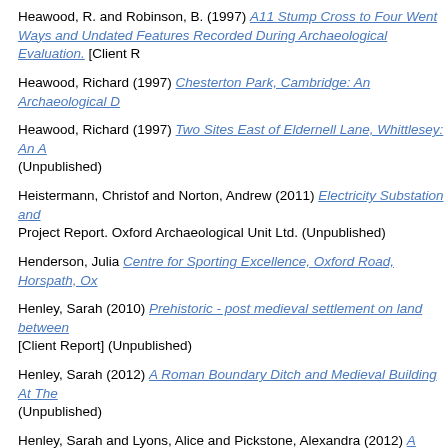Heawood, R. and Robinson, B. (1997) A11 Stump Cross to Four Went Ways and Undated Features Recorded During Archaeological Evaluation. [Client R
Heawood, Richard (1997) Chesterton Park, Cambridge: An Archaeological D
Heawood, Richard (1997) Two Sites East of Eldernell Lane, Whittlesey: An A (Unpublished)
Heistermann, Christof and Norton, Andrew (2011) Electricity Substation and Project Report. Oxford Archaeological Unit Ltd. (Unpublished)
Henderson, Julia Centre for Sporting Excellence, Oxford Road, Horspath, Ox
Henley, Sarah (2010) Prehistoric - post medieval settlement on land between [Client Report] (Unpublished)
Henley, Sarah (2012) A Roman Boundary Ditch and Medieval Building At The (Unpublished)
Henley, Sarah and Lyons, Alice and Pickstone, Alexandra (2012) A Romano- and UPD. [Client Report] (Unpublished)
Hey, Gill Yarnton Worton Rectory Farm. [Client Report] (Unpublished)
Hey, Gill (1988) Old Shifford Farm, Standlake. Project Report. Oxford Archae
Hey, Gill The Heritage Centre, Dover. [Client Report] (Unpublished)
Hey, Gill and Barclay, Alistair and Bell, Christopher and Booth, Paul and Brad Carolyn and Featherstone, Roger and Fell, Vanessa and Greig, James and H Neil and MacRae, R.J. and McDonald, Alison and Moore, John and Nichols, Smith, Riona (1994) YARNTON CASSINGTON EVALUATION 1992. Project